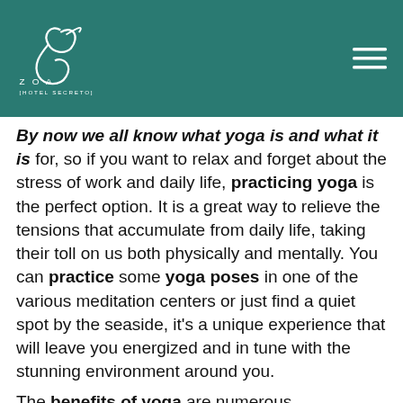ZOA [HOTEL SECRETO]
By now we all know what yoga is and what it is for, so if you want to relax and forget about the stress of work and daily life, practicing yoga is the perfect option. It is a great way to relieve the tensions that accumulate from daily life, taking their toll on us both physically and mentally. You can practice some yoga poses in one of the various meditation centers or just find a quiet spot by the seaside, it's a unique experience that will leave you energized and in tune with the stunning environment around you.

The benefits of yoga are numerous